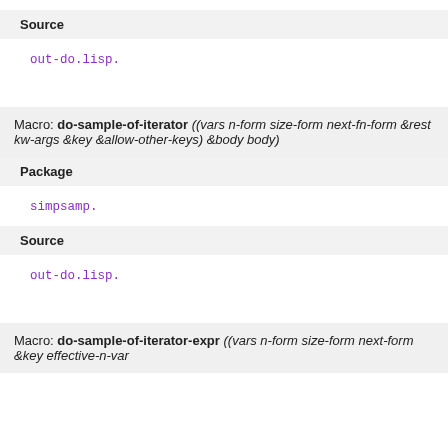Source
out-do.lisp.
Macro: do-sample-of-iterator ((vars n-form size-form next-fn-form &rest kw-args &key &allow-other-keys) &body body)
Package
simpsamp.
Source
out-do.lisp.
Macro: do-sample-of-iterator-expr ((vars n-form size-form next-form &key effective-n-var